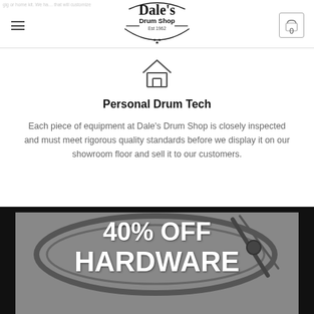Dale's Drum Shop
[Figure (logo): Dale's Drum Shop logo with circular badge and text, Est 1962]
[Figure (illustration): Home/house icon outline in dark gray]
Personal Drum Tech
Each piece of equipment at Dale's Drum Shop is closely inspected and must meet rigorous quality standards before we display it on our showroom floor and sell it to our customers.
[Figure (photo): Grayscale photo of drum hardware with overlaid promotional text reading 40% OFF HARDWARE]